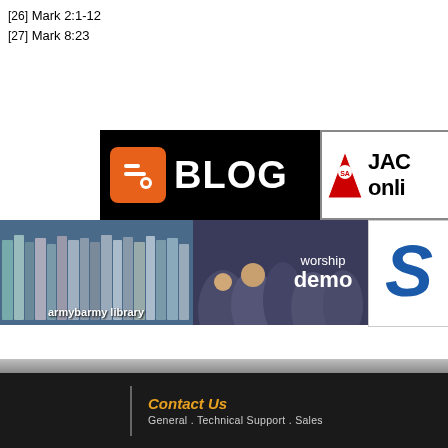[26] Mark 2:1-12
[27] Mark 8:23
[Figure (logo): Blogger BLOG logo banner - orange B icon on black background with white BLOG text]
[Figure (logo): Salvation Army JAC online banner - red shield logo with JAC onli... text]
[Figure (logo): armybarmy library banner - books image with label]
[Figure (logo): worship demo banner - crowd photo with worship demo text overlay]
[Figure (logo): S logo banner - blue italic S letter]
Contact Us  General . Technical Support . Sales